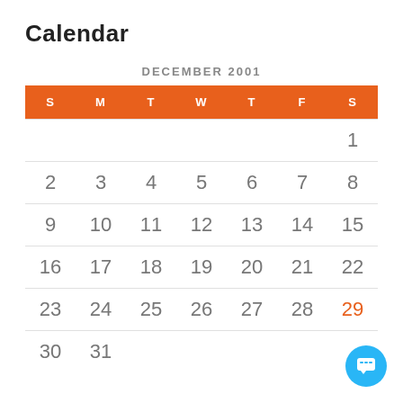Calendar
DECEMBER 2001
| S | M | T | W | T | F | S |
| --- | --- | --- | --- | --- | --- | --- |
|  |  |  |  |  |  | 1 |
| 2 | 3 | 4 | 5 | 6 | 7 | 8 |
| 9 | 10 | 11 | 12 | 13 | 14 | 15 |
| 16 | 17 | 18 | 19 | 20 | 21 | 22 |
| 23 | 24 | 25 | 26 | 27 | 28 | 29 |
| 30 | 31 |  |  |  |  |  |
[Figure (other): Blue chat/support button in bottom right corner]